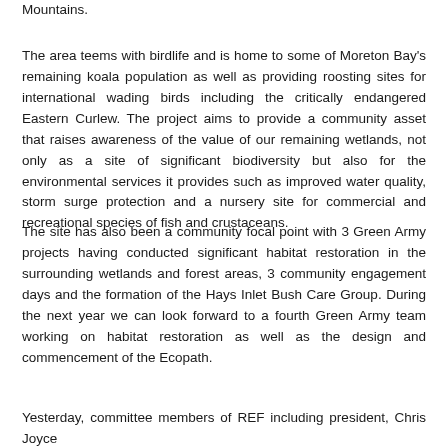Mountains.
The area teems with birdlife and is home to some of Moreton Bay's remaining koala population as well as providing roosting sites for international wading birds including the critically endangered Eastern Curlew. The project aims to provide a community asset that raises awareness of the value of our remaining wetlands, not only as a site of significant biodiversity but also for the environmental services it provides such as improved water quality, storm surge protection and a nursery site for commercial and recreational species of fish and crustaceans.
The site has also been a community focal point with 3 Green Army projects having conducted significant habitat restoration in the surrounding wetlands and forest areas, 3 community engagement days and the formation of the Hays Inlet Bush Care Group. During the next year we can look forward to a fourth Green Army team working on habitat restoration as well as the design and commencement of the Ecopath.
Yesterday, committee members of REF including president, Chris Joyce